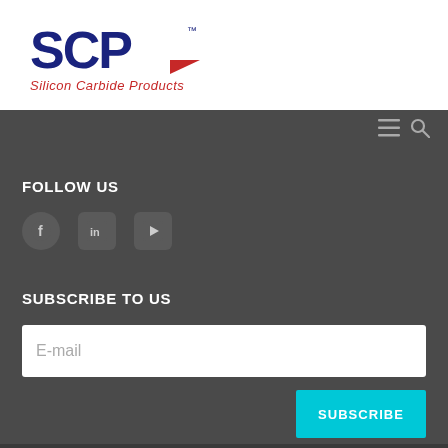[Figure (logo): SCP Silicon Carbide Products logo — blue SCP letters with red arrow, italic text below]
[Figure (infographic): Dark gray navigation bar with hamburger menu icon and search icon on right side]
FOLLOW US
[Figure (infographic): Three social media icons: Facebook (circle), LinkedIn (rounded square), YouTube (rounded square)]
SUBSCRIBE TO US
[Figure (infographic): Email input field with placeholder text 'E-mail' and a cyan SUBSCRIBE button]